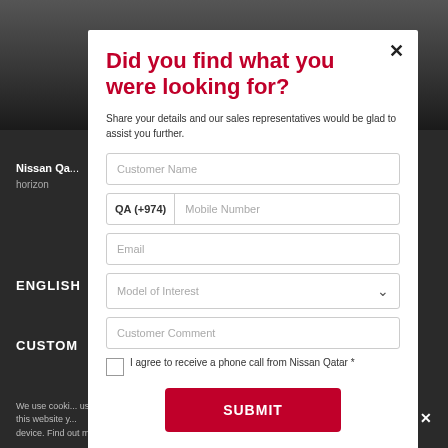[Figure (screenshot): Dark background of a Nissan Qatar website with partial text visible]
Did you find what you were looking for?
Share your details and our sales representatives would be glad to assist you further.
Customer Name
QA (+974) Mobile Number
Email
Model of Interest
Customer Comment
I agree to receive a phone call from Nissan Qatar *
SUBMIT